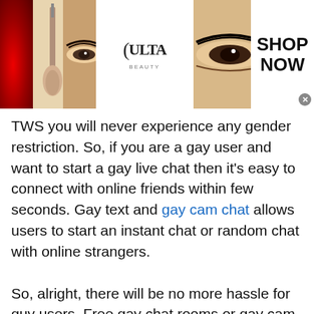[Figure (photo): Top advertisement banner for Ulta Beauty showing makeup photos (red lips, makeup brush, eye with smoky makeup), Ulta Beauty logo, eye close-up, and SHOP NOW call to action button]
TWS you will never experience any gender restriction. So, if you are a gay user and want to start a gay live chat then it's easy to connect with online friends within few seconds. Gay text and gay cam chat allows users to start an instant chat or random chat with online strangers.

So, alright, there will be no more hassle for guy users. Free gay chat rooms or gay cam chat is absolutely the best chat room available that help gays to enlarge their friend's circle. Are you willing
[Figure (screenshot): Bottom advertisement for Women's Fashion | Shop Online | VENUS. Shows a screenshot of the venus.com website thumbnail on the left, ad title in blue, description 'Shop the best in women's fashion, clothing, swimwear', URL venus.com, and a blue circular arrow button on the right.]